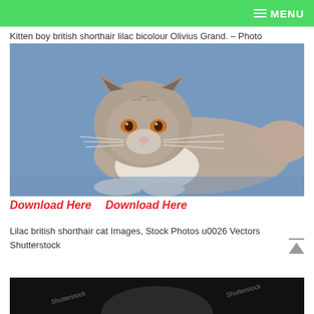MENU
Kitten boy british shorthair lilac bicolour Olivius Grand. – Photo
[Figure (photo): A British Shorthair lilac bicolour cat lying on a blue sofa, facing the camera with orange eyes, white chest and paws, grey-lilac fur.]
Download Here   Download Here
Lilac british shorthair cat Images, Stock Photos u0026 Vectors Shutterstock
[Figure (photo): Partial view of another cat photo, dark background with partial cat silhouette visible.]